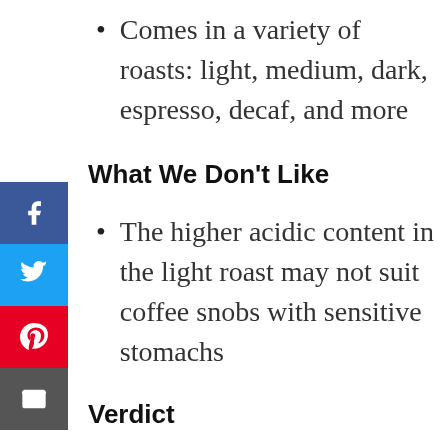Comes in a variety of roasts: light, medium, dark, espresso, decaf, and more
What We Don't Like
The higher acidic content in the light roast may not suit coffee snobs with sensitive stomachs
Verdict
The last drop of Coffee Bros Coffee is as good as the first one. Brew a cup for yourself, so you